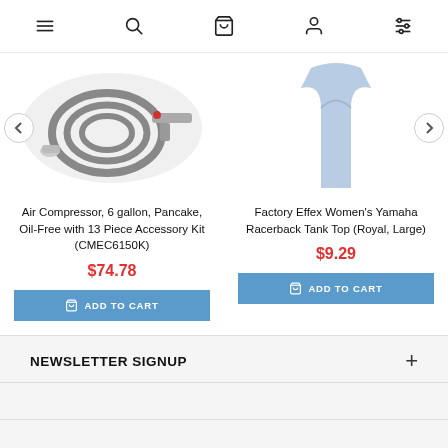Navigation bar with menu, search, cart, user, and filter icons
[Figure (photo): Product image: Air compressor hose and accessory kit on white background, partially visible]
[Figure (photo): Product image: Factory Effex Women's Yamaha Racerback Tank Top in Royal blue color, partially visible]
Air Compressor, 6 gallon, Pancake, Oil-Free with 13 Piece Accessory Kit (CMEC6150K)
$74.78
ADD TO CART
Factory Effex Women's Yamaha Racerback Tank Top (Royal, Large)
$9.29
ADD TO CART
NEWSLETTER SIGNUP